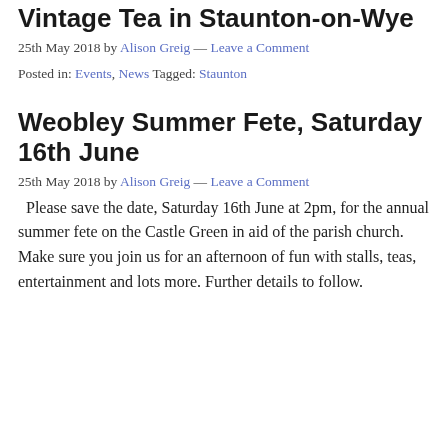Vintage Tea in Staunton-on-Wye
25th May 2018 by Alison Greig — Leave a Comment
Posted in: Events, News Tagged: Staunton
Weobley Summer Fete, Saturday 16th June
25th May 2018 by Alison Greig — Leave a Comment
Please save the date, Saturday 16th June at 2pm, for the annual summer fete on the Castle Green in aid of the parish church. Make sure you join us for an afternoon of fun with stalls, teas, entertainment and lots more. Further details to follow.